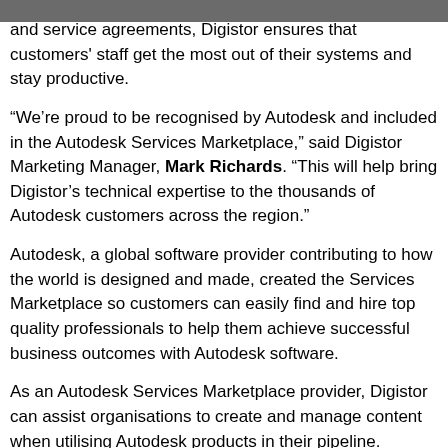and service agreements, Digistor ensures that customers' staff get the most out of their systems and stay productive.
“We’re proud to be recognised by Autodesk and included in the Autodesk Services Marketplace,” said Digistor Marketing Manager, Mark Richards. “This will help bring Digistor’s technical expertise to the thousands of Autodesk customers across the region.”
Autodesk, a global software provider contributing to how the world is designed and made, created the Services Marketplace so customers can easily find and hire top quality professionals to help them achieve successful business outcomes with Autodesk software.
As an Autodesk Services Marketplace provider, Digistor can assist organisations to create and manage content when utilising Autodesk products in their pipeline. Whether working in broadcast, post-production, architecture, games, visualisation, engineering or other fields where Autodesk products are used, Digistor technical services can be the glue that binds technology with a productive and creative workforce. They've assisted numerous organisations with their journey to the cloud, implementing hybrid cloud/on-premise collaborative production, storage and rendering systems.